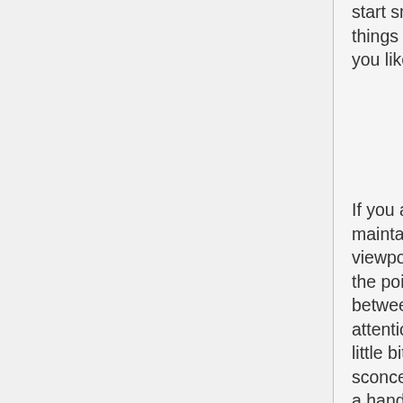start small, but attempting interesting things really helps to re-assess everything you like and might do without.
If you are renovating an area, ensure you maintain the location of sconces well in viewpoint in contrast in comparison with the point of interest. Enabling room between your sconces and center of attention allows the two sections sparkle. A little bit standpoint may help you position sconces correctly check out the match from a handful of techniques aside and pick the right location for the lighting.
To enhance your washroom, try out including a whole new effect to your